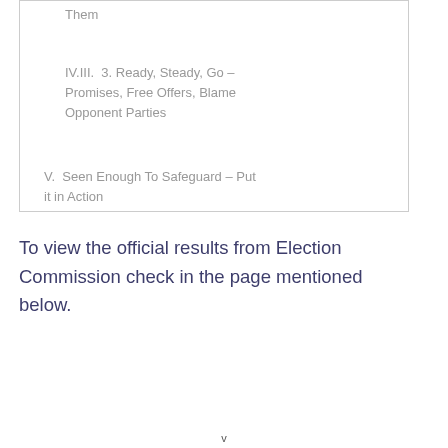Them
IV.III.  3. Ready, Steady, Go – Promises, Free Offers, Blame Opponent Parties
V.  Seen Enough To Safeguard – Put it in Action
To view the official results from Election Commission check in the page mentioned below.
v